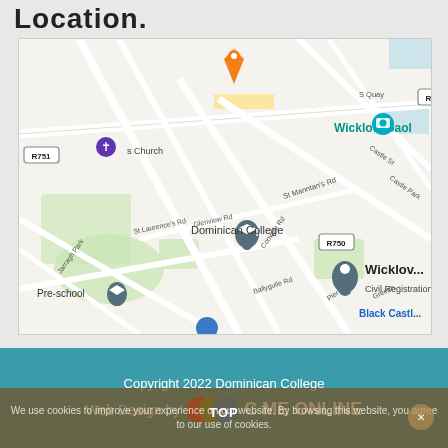Location.
[Figure (map): Google Maps screenshot showing area around Dominican College in Wicklow, Ireland. Visible landmarks include Wicklow Gaol, Dominican College, Civil Registration office, Black Castle, St Manntan's Rd, Glenview Rd, Convent Rd, St Laurence's Rd, Ballyguile Rd, roads R751 and R750.]
Copyright 2022 Dominican College
Web Design by C ME ONLINE
We use cookies to improve your experience on our website. By browsing this website, you agree to our use of cookies.
TOP